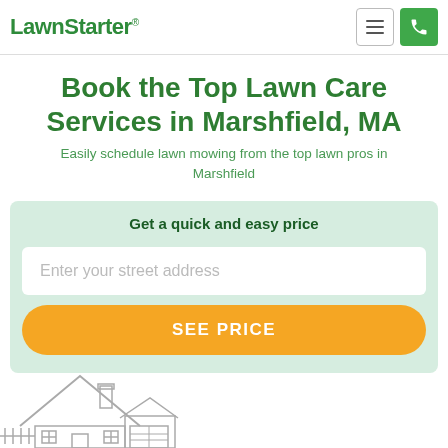LawnStarter
Book the Top Lawn Care Services in Marshfield, MA
Easily schedule lawn mowing from the top lawn pros in Marshfield
Get a quick and easy price
Enter your street address
SEE PRICE
[Figure (illustration): House outline illustration at the bottom of the page]